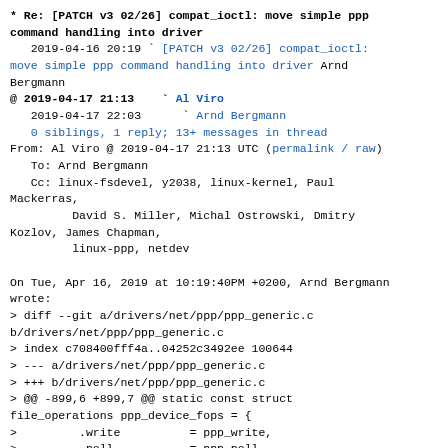* Re: [PATCH v3 02/26] compat_ioctl: move simple ppp command handling into driver
   2019-04-16 20:19  ` [PATCH v3 02/26] compat_ioctl: move simple ppp command handling into driver Arnd Bergmann
@ 2019-04-17 21:13     Al Viro
   2019-04-17 22:03      ` Arnd Bergmann
   0 siblings, 1 reply; 13+ messages in thread
From: Al Viro @ 2019-04-17 21:13 UTC (permalink / raw)
   To: Arnd Bergmann
   Cc: linux-fsdevel, y2038, linux-kernel, Paul Mackerras,
         David S. Miller, Michal Ostrowski, Dmitry Kozlov, James Chapman,
         linux-ppp, netdev

On Tue, Apr 16, 2019 at 10:19:40PM +0200, Arnd Bergmann wrote:
> diff --git a/drivers/net/ppp/ppp_generic.c b/drivers/net/ppp/ppp_generic.c
> index c708400fff4a..04252c3492ee 100644
> --- a/drivers/net/ppp/ppp_generic.c
> +++ b/drivers/net/ppp/ppp_generic.c
> @@ -899,6 +899,7 @@ static const struct file_operations ppp_device_fops = {
>         .write          = ppp_write,
>         .poll           = ppp_poll,
>         .unlocked_ioctl = ppp_ioctl,
> +        .compat_ioctl  = ppp_ioctl,